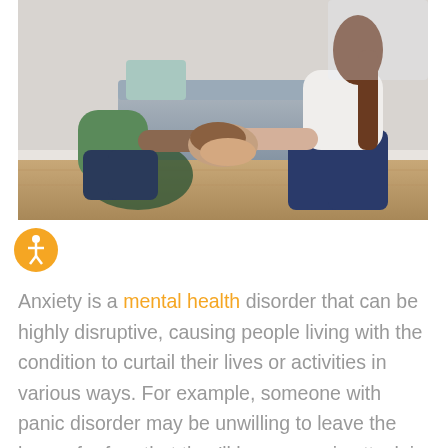[Figure (photo): Two people sitting on the floor holding hands in a supportive gesture. One person wearing a green top has dark skin, the other wearing a white top has lighter skin and long brown hair. A sofa and wooden floor are visible in the background.]
Anxiety is a mental health disorder that can be highly disruptive, causing people living with the condition to curtail their lives or activities in various ways. For example, someone with panic disorder may be unwilling to leave the house for fear that they'll have a panic attack in a public place.